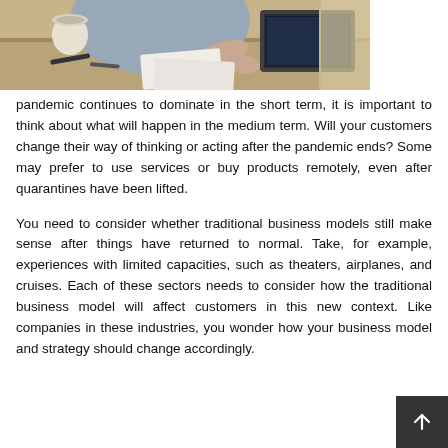[Figure (photo): Person sitting at a desk working on a laptop, viewed from above at an angle. A wooden table with papers and items visible.]
pandemic continues to dominate in the short term, it is important to think about what will happen in the medium term. Will your customers change their way of thinking or acting after the pandemic ends? Some may prefer to use services or buy products remotely, even after quarantines have been lifted.
You need to consider whether traditional business models still make sense after things have returned to normal. Take, for example, experiences with limited capacities, such as theaters, airplanes, and cruises. Each of these sectors needs to consider how the traditional business model will affect customers in this new context. Like companies in these industries, you wonder how your business model and strategy should change accordingly.